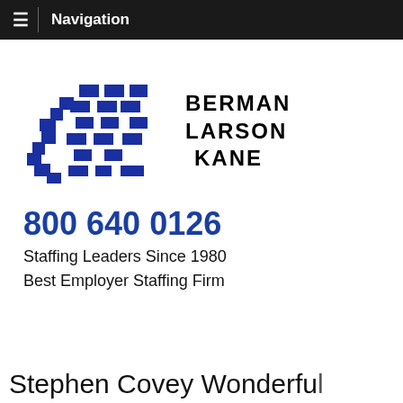Navigation
[Figure (logo): Berman Larson Kane company logo with blue running figure made of pixel squares and the company name in bold uppercase letters]
800 640 0126
Staffing Leaders Since 1980
Best Employer Staffing Firm
Stephen Covey Wonderful